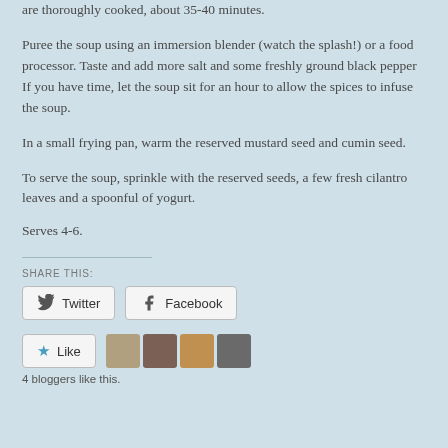are thoroughly cooked, about 35-40 minutes.
Puree the soup using an immersion blender (watch the splash!) or a food processor. Taste and add more salt and some freshly ground black pepper If you have time, let the soup sit for an hour to allow the spices to infuse the soup.
In a small frying pan, warm the reserved mustard seed and cumin seed.
To serve the soup, sprinkle with the reserved seeds, a few fresh cilantro leaves and a spoonful of yogurt.
Serves 4-6.
SHARE THIS:
[Figure (other): Share buttons: Twitter and Facebook]
[Figure (other): Like button with 4 blogger avatars and text '4 bloggers like this.']